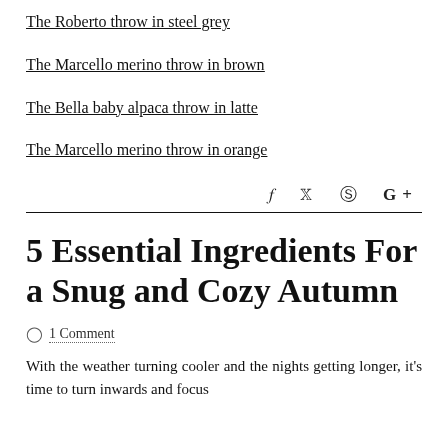The Roberto throw in steel grey
The Marcello merino throw in brown
The Bella baby alpaca throw in latte
The Marcello merino throw in orange
f  ✦  ⊕  G+
5 Essential Ingredients For a Snug and Cozy Autumn
1 Comment
With the weather turning cooler and the nights getting longer, it's time to turn inwards and focus